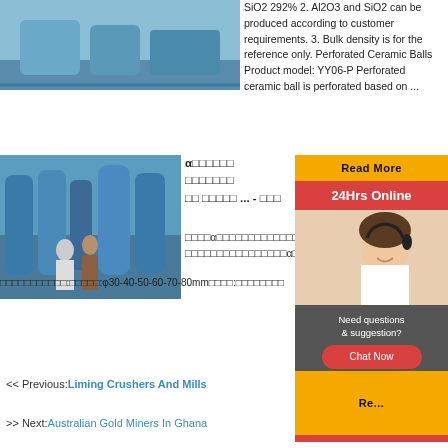[Figure (photo): Partial photo of industrial machinery at top left corner, blue industrial equipment visible]
SiO2 292% 2. Al2O3 and SiO2 can be produced according to customer requirements. 3. Bulk density is for the reference only. Perforated Ceramic Balls Product model: YY06-P Perforated ceramic ball is perforated based on ...
[Figure (photo): Photo of two men in an industrial facility with large blue cylindrical mill equipment]
α□□□□□□ □□□□□□□ □□ □□□□□ ... - □□□
□□□□α□□□□□□□□□□□□□□ □□□□□□□□□□□□□□□□α□□ □□□□□□□□□□□:□□□□□:φ30-40-50-60-70-80mm□□□□:□□□□□□□□
[Figure (screenshot): Sidebar with Read More button in yellow, 24Hrs Online button in red, agent photo of smiling woman with headset, Need questions & suggestion box, Chat Now button, Enquiry button, limingjlmofen button]
<< Previous:Liming Crushers And Mills
>> Next:Australian Gold Miners In Ghana